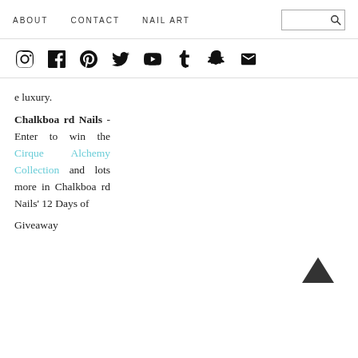ABOUT   CONTACT   NAIL ART
[Figure (infographic): Social media icons row: Instagram, Facebook, Pinterest, Twitter, YouTube, Tumblr, Snapchat, Email]
e luxury.
Chalkboard Nails - Enter to win the Cirque Alchemy Collection and lots more in Chalkboard Nails' 12 Days of Giveaway